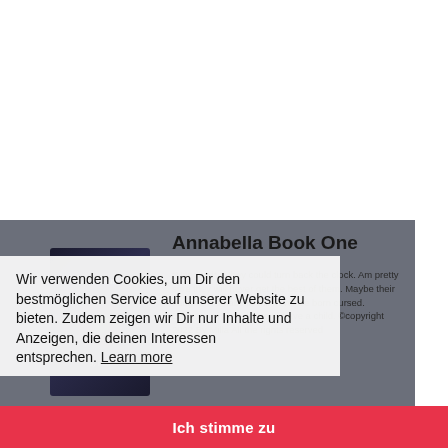[Figure (illustration): Book cover for 'Annabella' dark romance novel with face silhouette]
Annabella Book One
*Unedited* If they could turn back the clock. Am pretty sure they will never get the best of them. Maybe their daughter Annabella will never be born cursed. Because of their desire to have a child. ©copyright 2022 By Milla All the rights reserved
Wir verwenden Cookies, um Dir den bestmöglichen Service auf unserer Website zu bieten. Zudem zeigen wir Dir nur Inhalte und Anzeigen, die deinen Interessen entsprechen. Learn more
Ich stimme zu